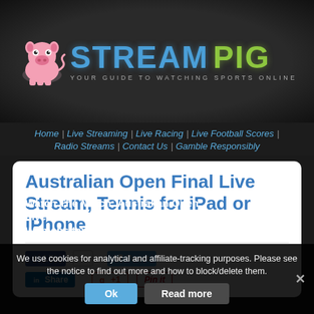[Figure (logo): Stream Pig logo with pink cartoon pig and blue/green text 'STREAM PIG' with tagline 'YOUR GUIDE TO WATCHING SPORTS ONLINE']
Home | Live Streaming | Live Racing | Live Football Scores | Radio Streams | Contact Us | Gamble Responsibly
Australian Open Final Live Stream, Tennis for iPad or iPhone
[Figure (screenshot): Social sharing buttons: Facebook Like with count 1, Tweet button, LinkedIn Share, Google +1, Pinterest Pin it]
Watch The Match: Australian Open Live Online – ATP/WTA – Mens and Womens tennis live from Melbourne!
We use cookies for analytical and affiliate-tracking purposes. Please see the notice to find out more and how to block/delete them.